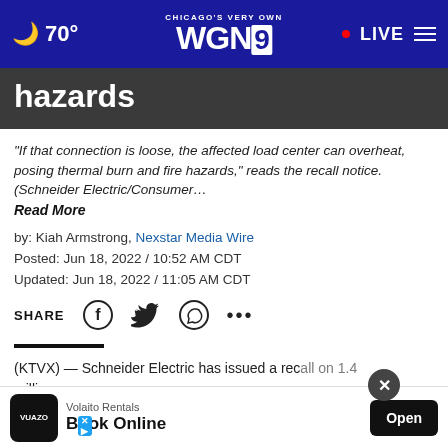70° CHICAGO'S VERY OWN WGN9 LIVE
hazards
“If that connection is loose, the affected load center can overheat, posing thermal burn and fire hazards,” reads the recall notice. (Schneider Electric/Consumer… Read More
by: Kiah Armstrong, Nexstar Media Wire
Posted: Jun 18, 2022 / 10:52 AM CDT
Updated: Jun 18, 2022 / 11:05 AM CDT
SHARE
(KTVX) — Schneider Electric has issued a recall on 1.4 million… that could result in the load center overheating…